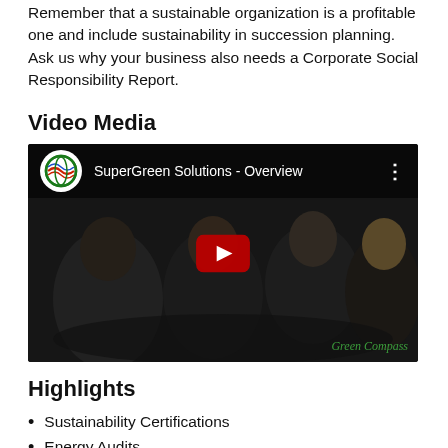Remember that a sustainable organization is a profitable one and include sustainability in succession planning. Ask us why your business also needs a Corporate Social Responsibility Report.
Video Media
[Figure (screenshot): YouTube video thumbnail for 'SuperGreen Solutions - Overview' showing a group of business people at a meeting table, with a red play button in the center and a 'Green Compass' watermark in the bottom right.]
Highlights
Sustainability Certifications
Energy Audits
People, Planet & Profit (The Triple Bottom Line)